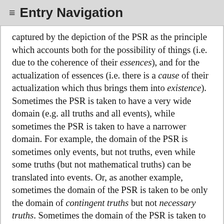≡ Entry Navigation
captured by the depiction of the PSR as the principle which accounts both for the possibility of things (i.e. due to the coherence of their essences), and for the actualization of essences (i.e. there is a cause of their actualization which thus brings them into existence). Sometimes the PSR is taken to have a very wide domain (e.g. all truths and all events), while sometimes the PSR is taken to have a narrower domain. For example, the domain of the PSR is sometimes only events, but not truths, even while some truths (but not mathematical truths) can be translated into events. Or, as another example, sometimes the domain of the PSR is taken to be only the domain of contingent truths but not necessary truths. Sometimes the domain of the PSR is taken to be all truths, with the sufficient reason for the truth of necessary truths being that their negation violates the PC. There are different ways of thinking of the relation between the PC and the PSR, the two most prominent being, first, that the PC and the PSR are equally fundamental, and, second, that only the PC is